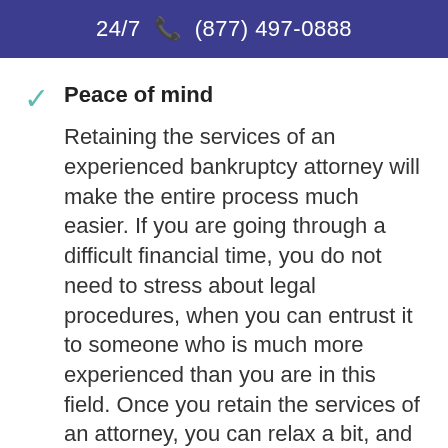24/7 ☎ (877) 497-0888
Peace of mind
Retaining the services of an experienced bankruptcy attorney will make the entire process much easier. If you are going through a difficult financial time, you do not need to stress about legal procedures, when you can entrust it to someone who is much more experienced than you are in this field. Once you retain the services of an attorney, you can relax a bit, and then